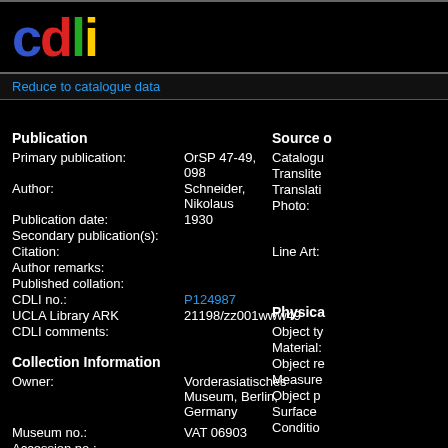cdli
Reduce to catalogue data
Publication
Primary publication: OrSP 47-49, 098
Author: Schneider, Nikolaus
Publication date: 1930
Secondary publication(s):
Citation:
Author remarks:
Published collation:
CDLI no.: P124987
UCLA Library ARK 21198/zz001www49
CDLI comments:
Collection Information
Owner: Vorderasiatisches Museum, Berlin, Germany
Museum no.: VAT 06903
Accession no.:
Acquisition history:
Text Content:
Source o
Catalogue
Translite
Translati
Photo:
Line Art:
Physica
Object ty
Material:
Object re
Measure
Object p
Surface
Conditio